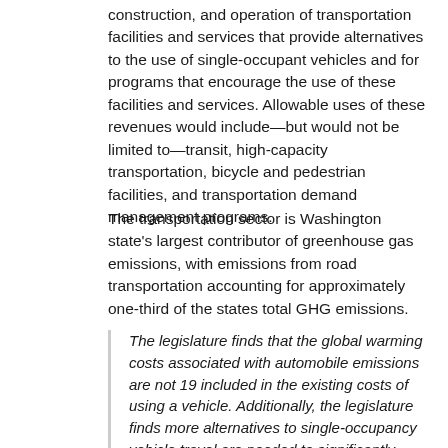construction, and operation of transportation facilities and services that provide alternatives to the use of single-occupant vehicles and for programs that encourage the use of these facilities and services. Allowable uses of these revenues would include—but would not be limited to—transit, high-capacity transportation, bicycle and pedestrian facilities, and transportation demand management programs.
The transportation sector is Washington state's largest contributor of greenhouse gas emissions, with emissions from road transportation accounting for approximately one-third of the states total GHG emissions.
The legislature finds that the global warming costs associated with automobile emissions are not 19 included in the existing costs of using a vehicle. Additionally, the legislature finds more alternatives to single-occupancy vehicle travel are needed to significantly reduce automobile vehicle miles traveled.